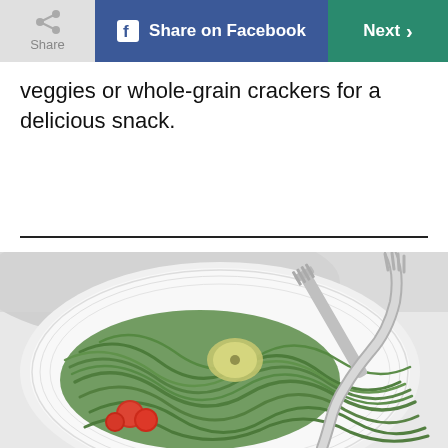Share | Share on Facebook | Next >
veggies or whole-grain crackers for a delicious snack.
[Figure (photo): A white plate with green pasta (spinach noodles) topped with cherry tomatoes and vegetables, with a silver fork resting on the pasta.]